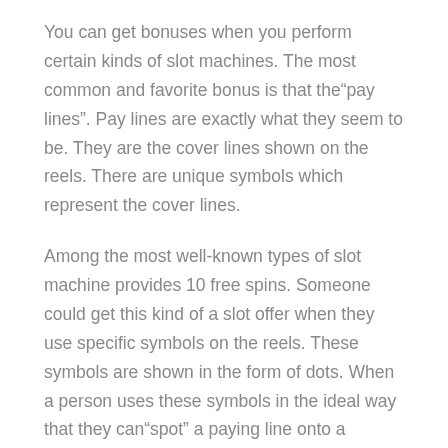You can get bonuses when you perform certain kinds of slot machines. The most common and favorite bonus is that the"pay lines". Pay lines are exactly what they seem to be. They are the cover lines shown on the reels. There are unique symbols which represent the cover lines.
Among the most well-known types of slot machine provides 10 free spins. Someone could get this kind of a slot offer when they use specific symbols on the reels. These symbols are shown in the form of dots. When a person uses these symbols in the ideal way that they can"spot" a paying line onto a machine. This"spotting" method could take some practice, but it is extremely simple to accomplish.
Another popular form of bonus rounds which may be employed with free slot machines are"scatter" slots. A"scatter" is simply a long row of symbols or numbers on a display. These symbols repeat over again. Free slots machines which use